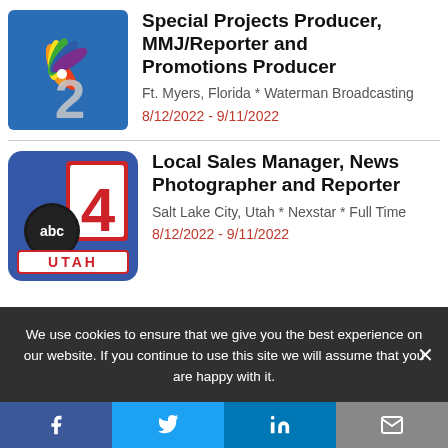[Figure (logo): NBC 2 Waterman Broadcasting logo - blue background with NBC peacock and large '2']
Special Projects Producer, MMJ/Reporter and Promotions Producer
Ft. Myers, Florida *  Waterman Broadcasting
8/12/2022 - 9/11/2022
[Figure (logo): ABC 4 Utah logo - blue/red square with ABC logo, large '4', and UTAH text]
Local Sales Manager, News Photographer and Reporter
Salt Lake City, Utah *  Nexstar *  Full Time
8/12/2022 - 9/11/2022
We use cookies to ensure that we give you the best experience on our website. If you continue to use this site we will assume that you are happy with it.